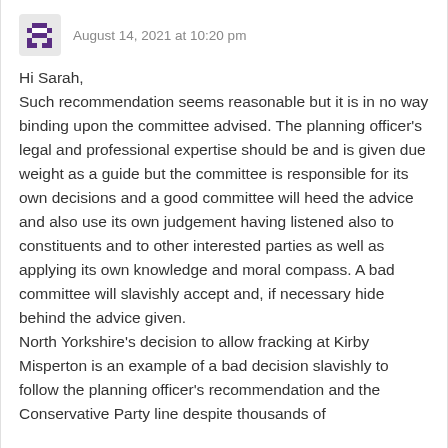August 14, 2021 at 10:20 pm
Hi Sarah,
Such recommendation seems reasonable but it is in no way binding upon the committee advised. The planning officer's legal and professional expertise should be and is given due weight as a guide but the committee is responsible for its own decisions and a good committee will heed the advice and also use its own judgement having listened also to constituents and to other interested parties as well as applying its own knowledge and moral compass. A bad committee will slavishly accept and, if necessary hide behind the advice given.
North Yorkshire's decision to allow fracking at Kirby Misperton is an example of a bad decision slavishly to follow the planning officer's recommendation and the Conservative Party line despite thousands of